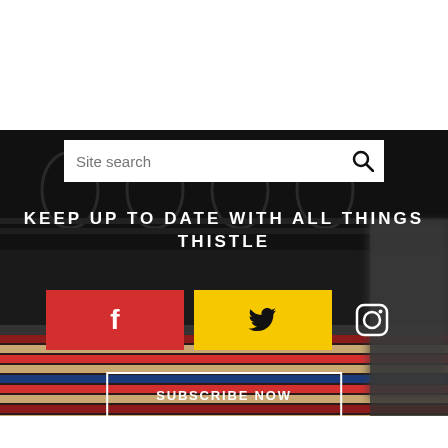[Figure (screenshot): White top area of webpage]
[Figure (screenshot): Dark section with stadium background, search bar, social media buttons (Facebook red, Twitter yellow, Instagram), subscribe button, and headline text: KEEP UP TO DATE WITH ALL THINGS THISTLE]